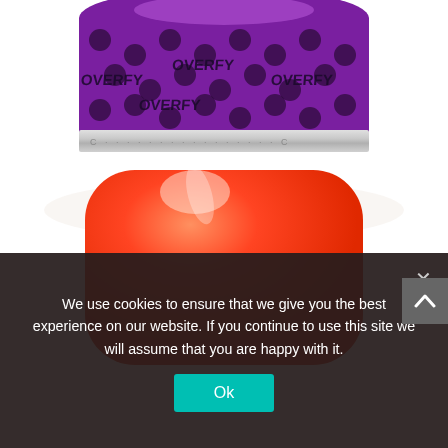[Figure (photo): Two nail polish bottles shown close-up. Top portion: a nail polish cap with purple and black polka-dot pattern with 'OVERFY' text repeated. It has a silver/chrome rim at the bottom. Bottom portion: a large rounded orange-red nail polish bottle body against a white background.]
We use cookies to ensure that we give you the best experience on our website. If you continue to use this site we will assume that you are happy with it.